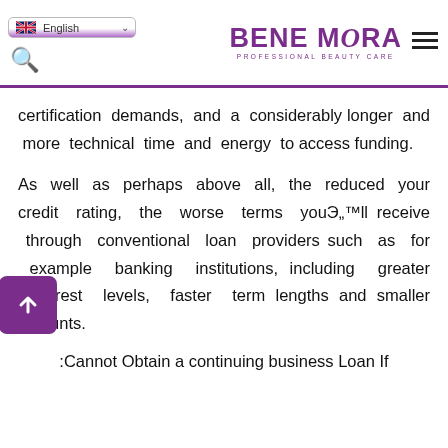English [flag] | BENE MORA PROFESSIONAL BEAUTY CARE [menu icon]
certification demands, and a considerably longer and more technical time and energy to access funding.
As well as perhaps above all, the reduced your credit rating, the worse terms youвЂ™ll receive through conventional loan providers such as for example banking institutions, including greater interest levels, faster term lengths and smaller amounts.
:Cannot Obtain a continuing business Loan If